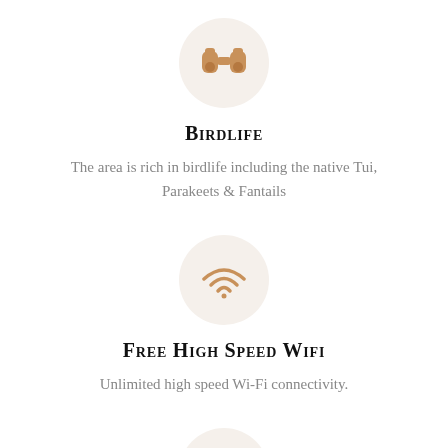[Figure (illustration): Binoculars icon inside a light beige circle]
Birdlife
The area is rich in birdlife including the native Tui, Parakeets & Fantails
[Figure (illustration): Wi-Fi signal icon inside a light beige circle]
Free high speed wifi
Unlimited high speed Wi-Fi connectivity.